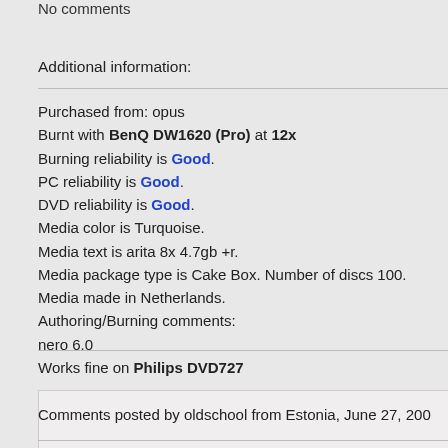No comments
Additional information:
Purchased from: opus
Burnt with BenQ DW1620 (Pro) at 12x
Burning reliability is Good.
PC reliability is Good.
DVD reliability is Good.
Media color is Turquoise.
Media text is arita 8x 4.7gb +r.
Media package type is Cake Box. Number of discs 100.
Media made in Netherlands.
Authoring/Burning comments:
nero 6.0
Works fine on Philips DVD727
Comments posted by oldschool from Estonia, June 27, 200